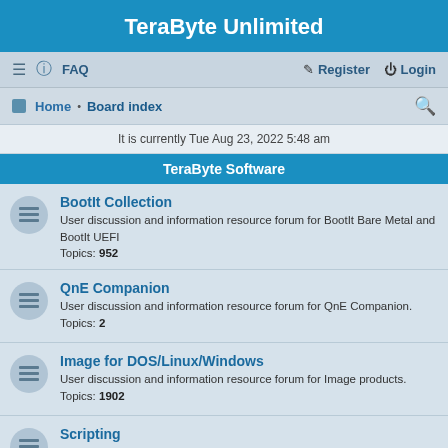TeraByte Unlimited
≡  FAQ    Register   Login
Home · Board index
It is currently Tue Aug 23, 2022 5:48 am
TeraByte Software
BootIt Collection
User discussion and information resource forum for BootIt Bare Metal and BootIt UEFI
Topics: 952
QnE Companion
User discussion and information resource forum for QnE Companion.
Topics: 2
Image for DOS/Linux/Windows
User discussion and information resource forum for Image products.
Topics: 1902
Scripting
User discussion and information resource forum for scripting of TeraByte products using script lanugages such as TBScript, VBScript, Batch Files, and more.
Topics: 62
OSD Tool Suite
User discussion and information resource forum for the TeraByte OS Deployment Tool Suite.